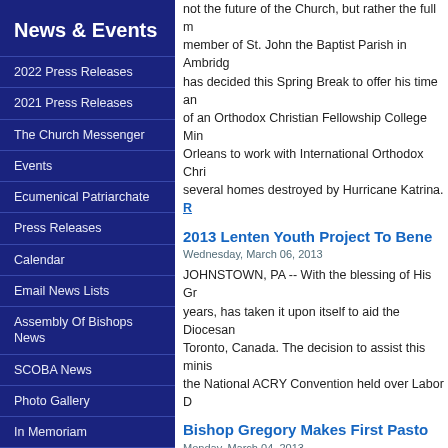News & Events
2022 Press Releases
2021 Press Releases
The Church Messenger
Events
Ecumenical Patriarchate
Press Releases
Calendar
Email News Lists
Assembly Of Bishops News
SCOBA News
Photo Gallery
In Memoriam
ACROD Facebook Feed
Youtube Live Channel
not the future of the Church, but rather the full member of St. John the Baptist Parish in Ambrid... has decided this Spring Break to offer his time a... of an Orthodox Christian Fellowship College Mi... Orleans to work with International Orthodox Chr... several homes destroyed by Hurricane Katrina. R...
2013 Lenten Youth Project To Bene...
Wednesday, March 06, 2013
JOHNSTOWN, PA -- With the blessing of His Gr... years, has taken it upon itself to aid the Diocesan... Toronto, Canada. The decision to assist this minis... the National ACRY Convention held over Labor D...
Bishop Gregory Makes First Pasto...
Monday, March 04, 2013
MORGANTOWN, WV -- Over the weekend of M... made his first pastoral visit to Morgantown, WV.... on Friday evening. On Saturday, he was able to jo... from other local colleges and many visitors at a P...
Schedule of His Grace Bishop G...